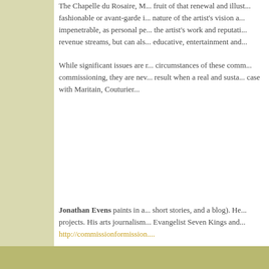The Chapelle du Rosaire, M... fruit of that renewal and illust... fashionable or avant-garde i... nature of the artist's vision a... impenetrable, as personal pe... the artist's work and reputati... revenue streams, but can als... educative, entertainment and...
While significant issues are r... circumstances of these comm... commissioning, they are nev... result when a real and sustai... case with Maritain, Couturier...
Jonathan Evens paints in a... short stories, and a blog). He... projects. His arts journalism... Evangelist Seven Kings and... http://commissionformission....